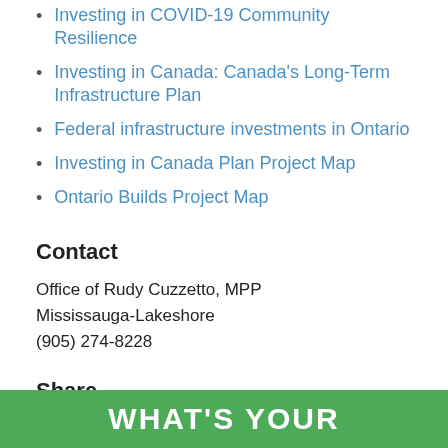Investing in COVID-19 Community Resilience
Investing in Canada: Canada's Long-Term Infrastructure Plan
Federal infrastructure investments in Ontario
Investing in Canada Plan Project Map
Ontario Builds Project Map
Contact
Office of Rudy Cuzzetto, MPP
Mississauga-Lakeshore
(905) 274-8228
Share
[Figure (infographic): Social media share icons: Facebook (dark blue circle with 'f'), Twitter (light blue circle with bird), Email (green circle with envelope)]
WHAT'S YOUR